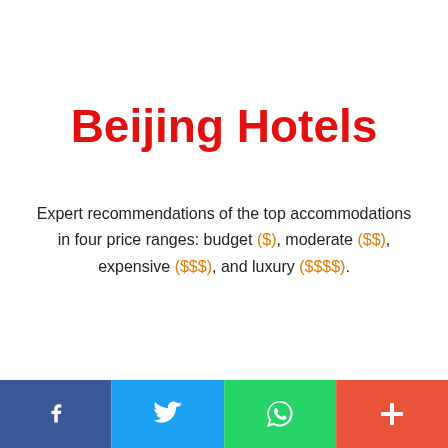Beijing Hotels
Expert recommendations of the top accommodations in four price ranges: budget ($), moderate ($$), expensive ($$$), and luxury ($$$$).
Social share bar: Facebook, Twitter, WhatsApp, More